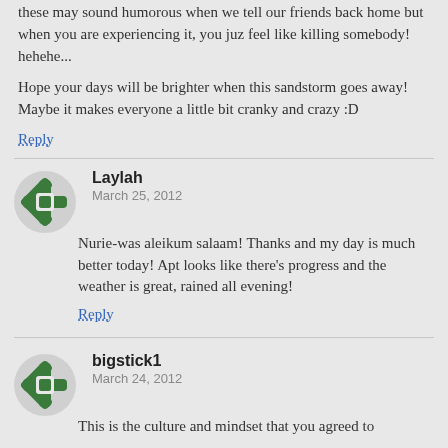these may sound humorous when we tell our friends back home but when you are experiencing it, you juz feel like killing somebody! hehehe...
Hope your days will be brighter when this sandstorm goes away! Maybe it makes everyone a little bit cranky and crazy :D
Reply
Laylah
March 25, 2012
Nurie-was aleikum salaam! Thanks and my day is much better today! Apt looks like there's progress and the weather is great, rained all evening!
Reply
bigstick1
March 24, 2012
This is the culture and mindset that you agreed to